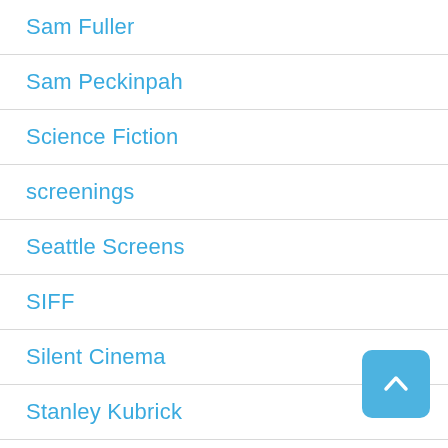Sam Fuller
Sam Peckinpah
Science Fiction
screenings
Seattle Screens
SIFF
Silent Cinema
Stanley Kubrick
streaming
Technology